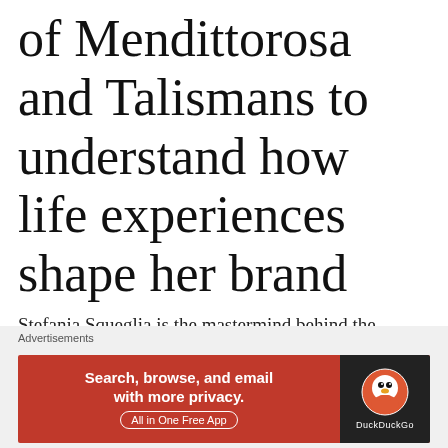of Mendittorosa and Talismans to understand how life experiences shape her brand
Stefania Squeglia is the mastermind behind the fabulous Mendittorosa Odori d'Anima brand, which includes the luxury line of Talismans perfumes. The
[Figure (other): DuckDuckGo advertisement banner with orange/red background. Text reads 'Search, browse, and email with more privacy. All in One Free App' with DuckDuckGo logo on dark background on the right.]